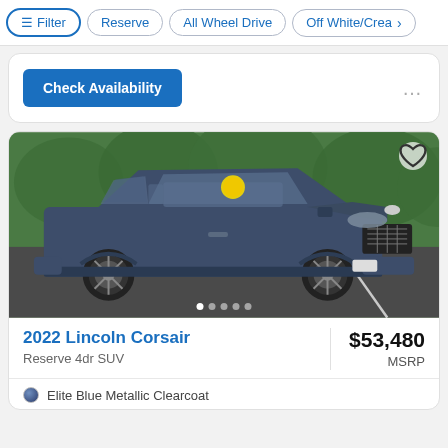Filter | Reserve | All Wheel Drive | Off White/Cream
Check Availability
[Figure (photo): Dark blue 2022 Lincoln Corsair SUV parked in a parking lot with green hedge background, yellow price sticker on windshield]
2022 Lincoln Corsair
Reserve 4dr SUV
$53,480 MSRP
Elite Blue Metallic Clearcoat